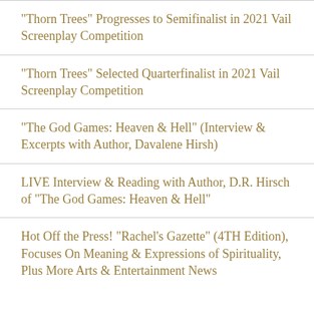“Thorn Trees” Progresses to Semifinalist in 2021 Vail Screenplay Competition
“Thorn Trees” Selected Quarterfinalist in 2021 Vail Screenplay Competition
“The God Games: Heaven & Hell” (Interview & Excerpts with Author, Davalene Hirsh)
LIVE Interview & Reading with Author, D.R. Hirsch of “The God Games: Heaven & Hell”
Hot Off the Press! “Rachel’s Gazette” (4TH Edition), Focuses On Meaning & Expressions of Spirituality, Plus More Arts & Entertainment News